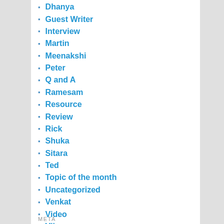Dhanya
Guest Writer
Interview
Martin
Meenakshi
Peter
Q and A
Ramesam
Resource
Review
Rick
Shuka
Sitara
Ted
Topic of the month
Uncategorized
Venkat
Video
Vijay
META